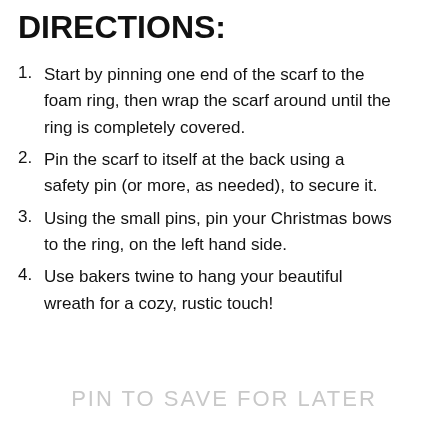DIRECTIONS:
Start by pinning one end of the scarf to the foam ring, then wrap the scarf around until the ring is completely covered.
Pin the scarf to itself at the back using a safety pin (or more, as needed), to secure it.
Using the small pins, pin your Christmas bows to the ring, on the left hand side.
Use bakers twine to hang your beautiful wreath for a cozy, rustic touch!
PIN TO SAVE FOR LATER